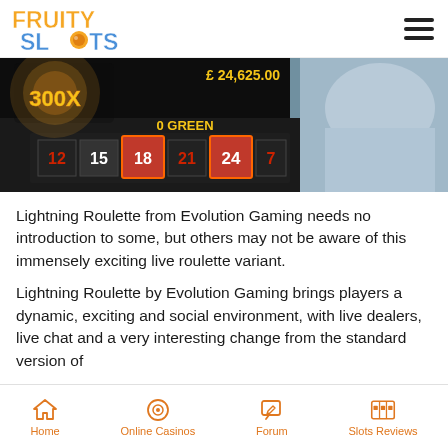Fruity Slots
[Figure (screenshot): Lightning Roulette game screenshot showing roulette board with numbers 12, 15, 18, 21, 24, '0 GREEN' label, '300X' multiplier, and prize of £24,625.00, with a live dealer visible on the right side]
Lightning Roulette from Evolution Gaming needs no introduction to some, but others may not be aware of this immensely exciting live roulette variant.
Lightning Roulette by Evolution Gaming brings players a dynamic, exciting and social environment, with live dealers, live chat and a very interesting change from the standard version of
Home  Online Casinos  Forum  Slots Reviews